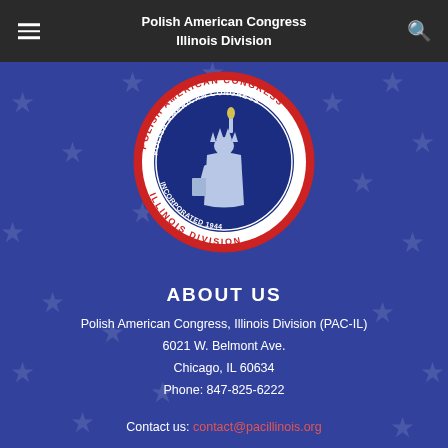Polish American Congress Illinois Division
[Figure (logo): Polish American Congress Illinois Division circular seal/logo featuring Statue of Liberty, red and blue colors, text 'Polish American Congress Incorporated 1944 Illinois Division']
ABOUT US
Polish American Congress, Illinois Division (PAC-IL)
6021 W. Belmont Ave.
Chicago, IL 60634
Phone: 847-825-6222
Contact us: contact@pacillinois.org